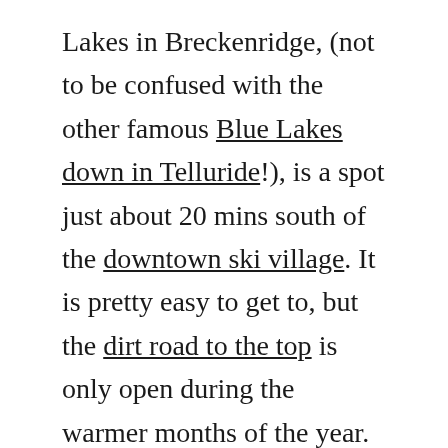Lakes in Breckenridge, (not to be confused with the other famous Blue Lakes down in Telluride!), is a spot just about 20 mins south of the downtown ski village. It is pretty easy to get to, but the dirt road to the top is only open during the warmer months of the year. The lakes sit just underneath Quandary Peak, a beautiful mountain that is one of the most common 14ers to hike in Colorado.
This spot is also easy to park at, and there isn't a lot of hiking involved. (While yes, we did